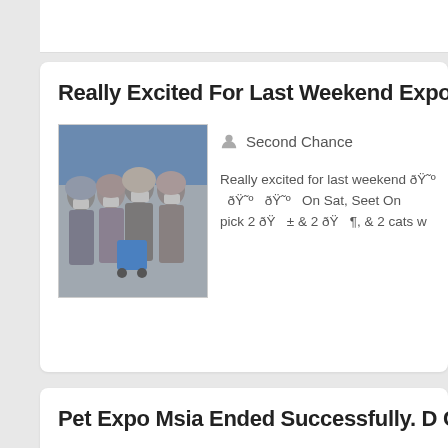Really Excited For Last Weekend Expo Adoption
[Figure (photo): Group of people wearing face masks and hijabs at what appears to be a pet adoption expo event]
Second Chance
Really excited for last weekend 😺 😺 😺 On Sat, Seet On pick 2 😺 ± & 2 😺 ¶, & 2 cats w
Pet Expo Msia Ended Successfully. D Crowd Is
[Figure (photo): Second Chance Animal Society booth at Pet Expo Malaysia with people in masks]
Second Chance
Pet Expo Msia ended successfully â